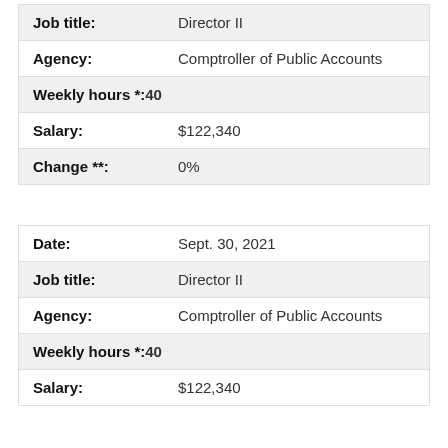| Field | Value |
| --- | --- |
| Job title: | Director II |
| Agency: | Comptroller of Public Accounts |
| Weekly hours *: | 40 |
| Salary: | $122,340 |
| Change **: | 0% |
| Field | Value |
| --- | --- |
| Date: | Sept. 30, 2021 |
| Job title: | Director II |
| Agency: | Comptroller of Public Accounts |
| Weekly hours *: | 40 |
| Salary: | $122,340 |